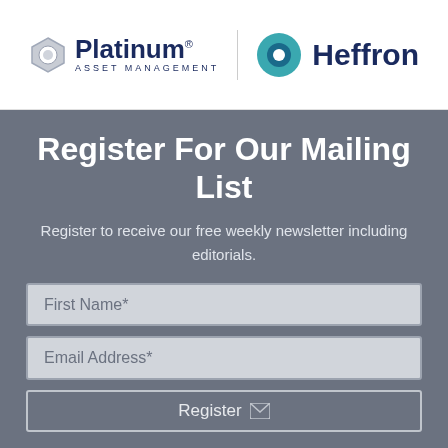[Figure (logo): Platinum Asset Management and Heffron logos side by side]
Register For Our Mailing List
Register to receive our free weekly newsletter including editorials.
First Name*
Email Address*
Register